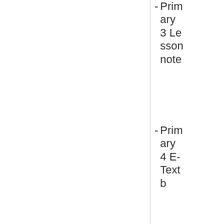- Primary 3 Lesson note
- Primary 4 E-Textb